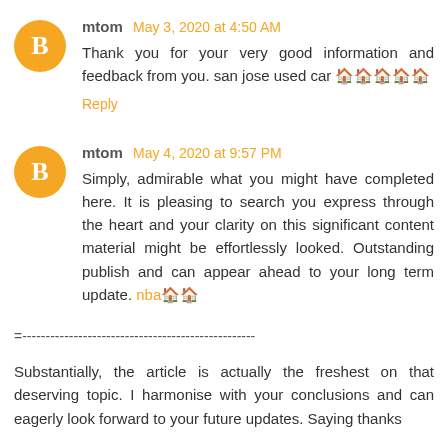mtom May 3, 2020 at 4:50 AM
Thank you for your very good information and feedback from you. san jose used car 🏠🏠🏠🏠🏠
Reply
mtom May 4, 2020 at 9:57 PM
Simply, admirable what you might have completed here. It is pleasing to search you express through the heart and your clarity on this significant content material might be effortlessly looked. Outstanding publish and can appear ahead to your long term update. nba🏠🏠
=--------------------------------------------------
Substantially, the article is actually the freshest on that deserving topic. I harmonise with your conclusions and can eagerly look forward to your future updates. Saying thanks